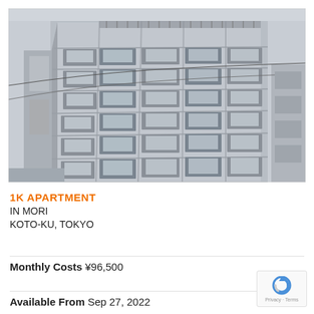[Figure (photo): Exterior photo of a modern multi-story apartment building in Tokyo, shot from below at an angle showing multiple floors with balconies, grey concrete facade, blue sky background.]
1K APARTMENT
IN MORI
KOTO-KU, TOKYO
Monthly Costs ¥96,500
Available From Sep 27, 2022